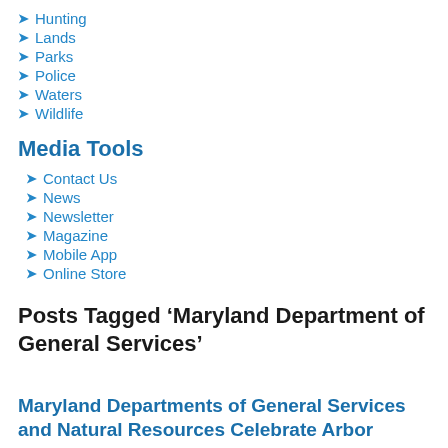Hunting
Lands
Parks
Police
Waters
Wildlife
Media Tools
Contact Us
News
Newsletter
Magazine
Mobile App
Online Store
Posts Tagged ‘Maryland Department of General Services’
Maryland Departments of General Services and Natural Resources Celebrate Arbor